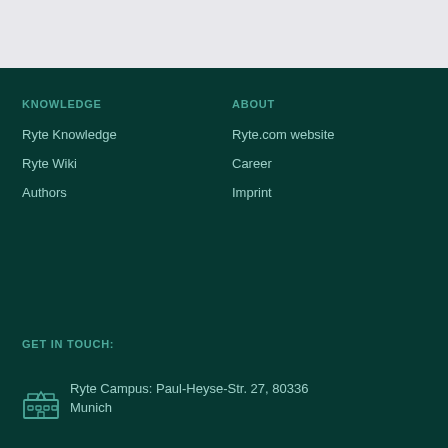KNOWLEDGE
Ryte Knowledge
Ryte Wiki
Authors
ABOUT
Ryte.com website
Career
Imprint
GET IN TOUCH:
Ryte Campus: Paul-Heyse-Str. 27, 80336 Munich